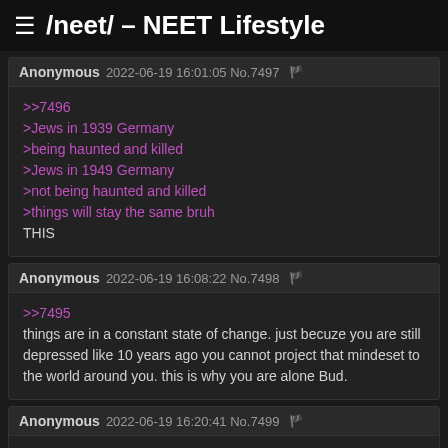≡ /neet/ – NEET Lifestyle
Anonymous 2022-06-19 16:01:05 No.7497
>>7496
>Jews in 1939 Germany
>being haunted and killed
>Jews in 1949 Germany
>not being haunted and killed
>things will stay the same bruh
THIS
Anonymous 2022-06-19 16:08:22 No.7498
>>7495
things are in a constant state of change. just becuze you are still depressed like 10 years ago you cannot project that mindeset to the world around you. this is why you are alone Bud.
Anonymous 2022-06-19 16:20:41 No.7499
>>7496
>>7497
>>7498
>racist president